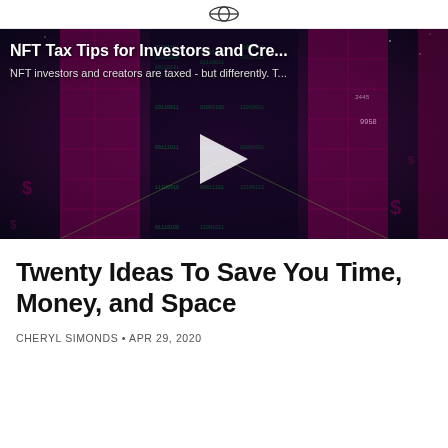[Figure (screenshot): Video thumbnail for 'NFT Tax Tips for Investors and Cre...' showing a dark digital/cyberpunk-style background with a hooded figure made of binary code in the center, overlaid with a white play button triangle. Title text reads: 'NFT Tax Tips for Investors and Cre...' and subtitle: 'NFT investors and creators are taxed - but differently. T...']
Twenty Ideas To Save You Time, Money, and Space
CHERYL SIMONDS • APR 29, 2020